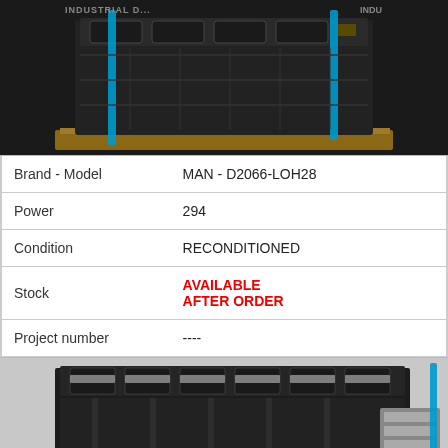[Figure (photo): Top view of a MAN D2066-LOH28 reconditioned engine block on a wooden pallet, viewed from the front/top with blue straps visible, dark industrial setting.]
| Field | Value |
| --- | --- |
| Brand - Model | MAN - D2066-LOH28 |
| Power | 294 |
| Condition | RECONDITIONED |
| Stock | AVAILABLE / AFTER ORDER |
| Project number | ---- |
[Figure (photo): Side/front view of a MAN D2066-LOH28 reconditioned engine block showing cylinder head and crankcase, with Ham Industrial logo visible in bottom left corner.]